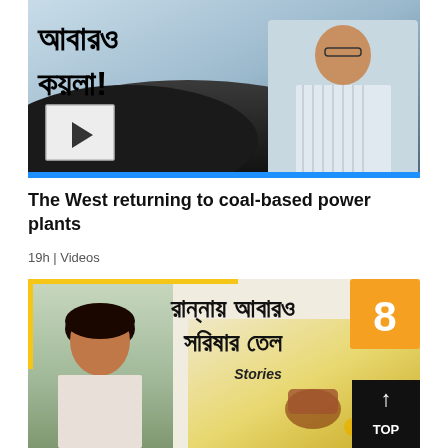[Figure (screenshot): Video thumbnail showing Bengali text (আবারও কয়লা!) with coal pile, a man in striped shirt, play button overlay, and blue bottom bar]
The West returning to coal-based power plants
19h | Videos
[Figure (screenshot): Video thumbnail showing Bengali text (রান্নায় আবারও সরিষার তল), woman on left, yellow border, orange number 8 badge, Stories label, mustard oil jar with flowers, TOP button]